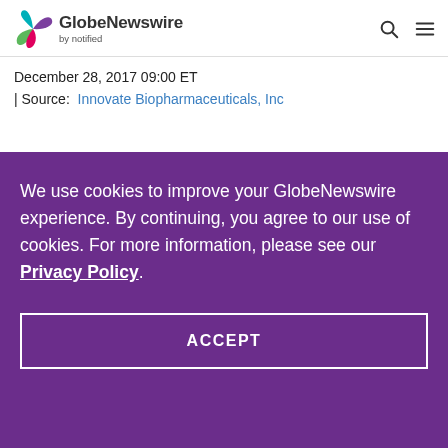[Figure (logo): GlobeNewswire by notified logo with colorful butterfly/leaf icon]
December 28, 2017 09:00 ET
| Source:  Innovate Biopharmaceuticals, Inc
We use cookies to improve your GlobeNewswire experience. By continuing, you agree to our use of cookies. For more information, please see our Privacy Policy.
ACCEPT